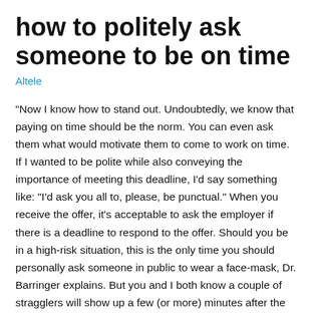how to politely ask someone to be on time
Altele
"Now I know how to stand out. Undoubtedly, we know that paying on time should be the norm. You can even ask them what would motivate them to come to work on time. If I wanted to be polite while also conveying the importance of meeting this deadline, I'd say something like: "I'd ask you all to, please, be punctual." When you receive the offer, it's acceptable to ask the employer if there is a deadline to respond to the offer. Should you be in a high-risk situation, this is the only time you should personally ask someone in public to wear a face-mask, Dr. Barringer explains. But you and I both know a couple of stragglers will show up a few (or more) minutes after the time things should get started. I always seem to agree with people getting the TD's ! Join Yahoo Answers and get 100 points today. otherwise, just tell your guests that it is very